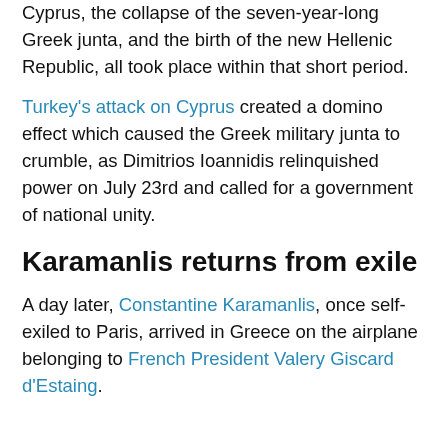Cyprus, the collapse of the seven-year-long Greek junta, and the birth of the new Hellenic Republic, all took place within that short period.
Turkey's attack on Cyprus created a domino effect which caused the Greek military junta to crumble, as Dimitrios Ioannidis relinquished power on July 23rd and called for a government of national unity.
Karamanlis returns from exile
A day later, Constantine Karamanlis, once self-exiled to Paris, arrived in Greece on the airplane belonging to French President Valery Giscard d'Estaing.